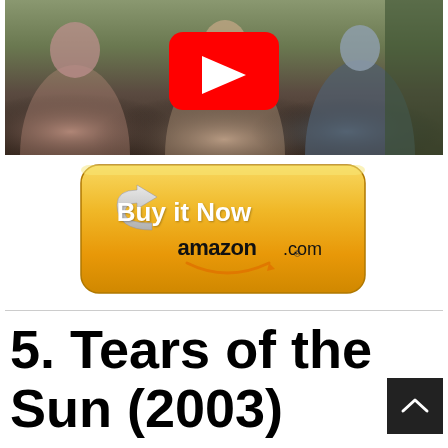[Figure (screenshot): YouTube video thumbnail showing three people, with a red YouTube play button overlay in the center]
[Figure (illustration): Amazon 'Buy it Now' button with golden/yellow rounded rectangle background, white arrow icon, white 'Buy it Now' text, and 'amazon.com' text with smile logo]
5. Tears of the Sun (2003)